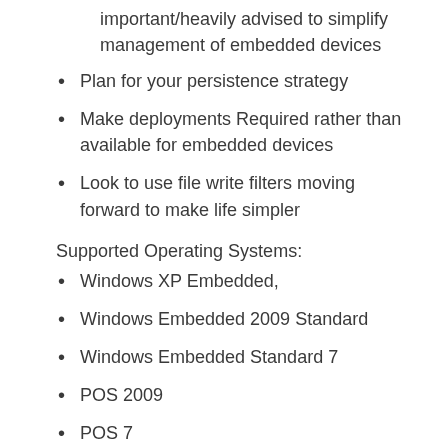important/heavily advised to simplify management of embedded devices
Plan for your persistence strategy
Make deployments Required rather than available for embedded devices
Look to use file write filters moving forward to make life simpler
Supported Operating Systems:
Windows XP Embedded,
Windows Embedded 2009 Standard
Windows Embedded Standard 7
POS 2009
POS 7
Windows Thin PC